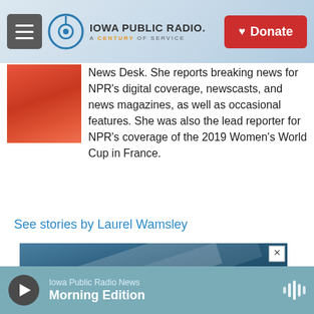Iowa Public Radio. A Century of Service. Donate
[Figure (photo): Photo of a woman in red/orange clothing, partially cropped]
News Desk. She reports breaking news for NPR's digital coverage, newscasts, and news magazines, as well as occasional features. She was also the lead reporter for NPR's coverage of the 2019 Women's World Cup in France.
See stories by Laurel Wamsley
[Figure (screenshot): Advertisement banner with blue/steel gradient background and diagonal design element]
Iowa Public Radio News — Morning Edition (audio player bar)